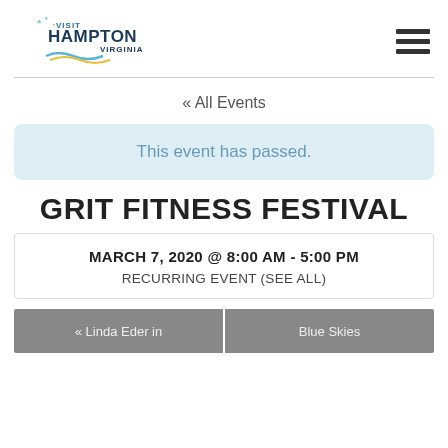[Figure (logo): Visit Hampton Virginia logo with stars and wave graphic]
« All Events
This event has passed.
GRIT FITNESS FESTIVAL
MARCH 7, 2020 @ 8:00 AM - 5:00 PM
RECURRING EVENT (SEE ALL)
« Linda Eder in
Blue Skies